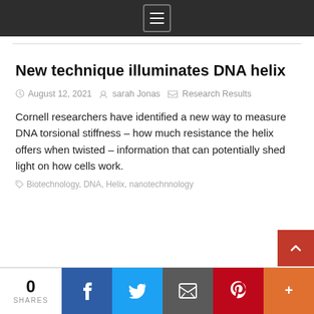Menu
New technique illuminates DNA helix
August 12, 2021   sarah Jonas   Research Results
Cornell researchers have identified a new way to measure DNA torsional stiffness – how much resistance the helix offers when twisted – information that can potentially shed light on how cells work.
Biotechnology, DNA, Helix, nanotechnnology
0 SHARES